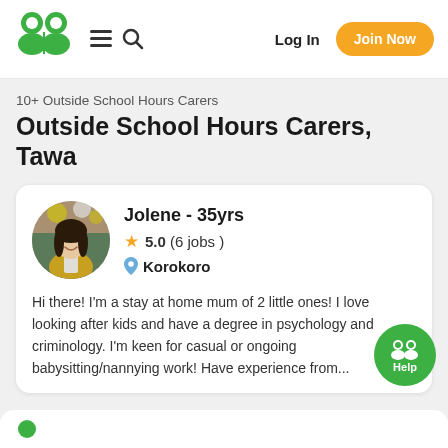[Figure (logo): GoodnessMe/Gumtree-style green double-person logo (two green human figures side by side)]
Log In  Join Now
10+ Outside School Hours Carers
Outside School Hours Carers, Tawa
Jolene - 35yrs
5.0 (6 jobs)
Korokoro
Hi there! I'm a stay at home mum of 2 little ones! I love looking after kids and have a degree in psychology and criminology. I'm keen for casual or ongoing babysitting/nannying work! Have experience from...